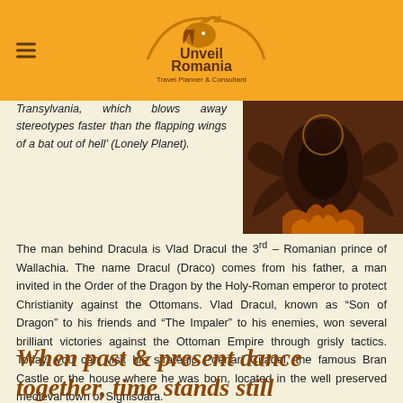Unveil Romania Travel Planner & Consultant
Transylvania, which blows away stereotypes faster than the flapping wings of a bat out of hell' (Lonely Planet).
[Figure (illustration): Dark medieval illustration of a dragon or winged creature from Romanian/Orthodox iconography, brown and red tones]
The man behind Dracula is Vlad Dracul the 3rd – Romanian prince of Wallachia. The name Dracul (Draco) comes from his father, a man invited in the Order of the Dragon by the Holy-Roman emperor to protect Christianity against the Ottomans. Vlad Dracul, known as “Son of Dragon” to his friends and “The Impaler” to his enemies, won several brilliant victories against the Ottoman Empire through grisly tactics. Today, you can visit his strategic Poenari Citadel, the famous Bran Castle or the house where he was born, located in the well preserved medieval town of Sighisoara.
When past & present dance together, time stands still